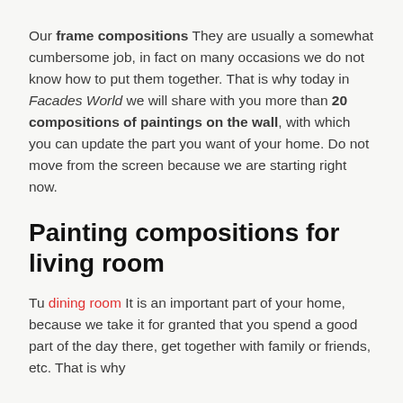Our frame compositions They are usually a somewhat cumbersome job, in fact on many occasions we do not know how to put them together. That is why today in Facades World we will share with you more than 20 compositions of paintings on the wall, with which you can update the part you want of your home. Do not move from the screen because we are starting right now.
Painting compositions for living room
Tu dining room It is an important part of your home, because we take it for granted that you spend a good part of the day there, get together with family or friends, etc. That is why...